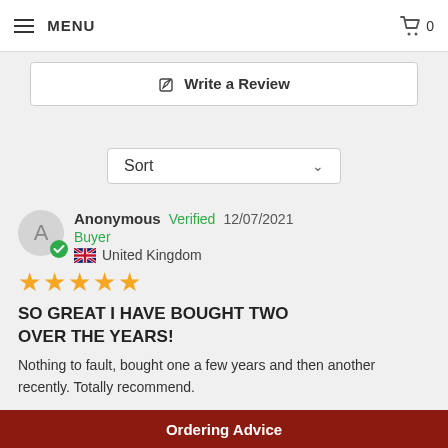MENU | Cart 0
✏ Write a Review
Sort
Anonymous Verified 12/07/2021 Buyer United Kingdom
[Figure (infographic): Five gold stars rating]
SO GREAT I HAVE BOUGHT TWO OVER THE YEARS!
Nothing to fault, bought one a few years and then another recently. Totally recommend.
Share  Was this helpful? 👍 0 👎 0
Ordering Advice